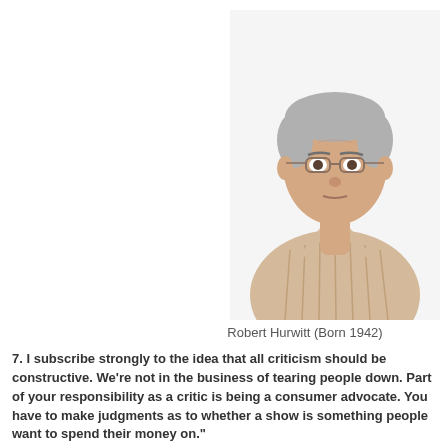[Figure (photo): Portrait photo of an older man wearing glasses and a striped collared shirt, on a white background]
Robert Hurwitt (Born 1942)
7. I subscribe strongly to the idea that all criticism should be constructive. We're not in the business of tearing people down. Part of your responsibility as a critic is being a consumer advocate. You have to make judgments as to whether a show is something people want to spend their money on."